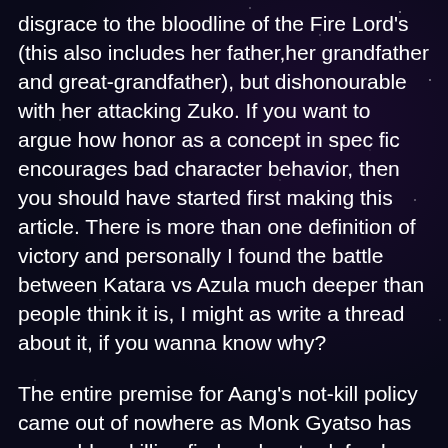disgrace to the bloodline of the Fire Lord's (this also includes her father,her grandfather and great-grandfather), but dishonourable with her attacking Zuko. If you want to argue how honor as a concept in spec fic encourages bad character behavior, then you should have started first making this article. There is more than one definition of victory and personally I found the battle between Katara vs Azula much deeper than people think it is, I might as write a thread about it, if you wanna know why?
The entire premise for Aang's not-kill policy came out of nowhere as Monk Gyatso has no problem killing firebenders to defend himself and Aang never expressed any sort of uneasy feeling in regards to killing. Aang could have ended the fight with Zuko's